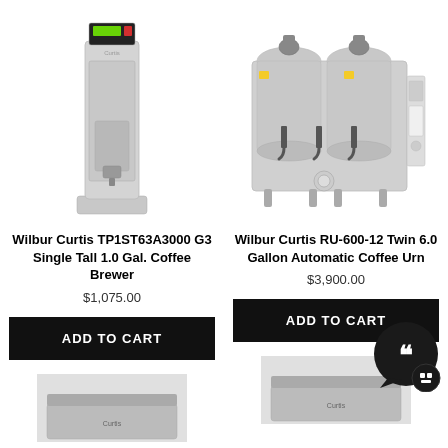[Figure (photo): Wilbur Curtis TP1ST63A3000 G3 Single Tall 1.0 Gal. Coffee Brewer product photo on white background]
[Figure (photo): Wilbur Curtis RU-600-12 Twin 6.0 Gallon Automatic Coffee Urn product photo on white background]
Wilbur Curtis TP1ST63A3000 G3 Single Tall 1.0 Gal. Coffee Brewer
Wilbur Curtis RU-600-12 Twin 6.0 Gallon Automatic Coffee Urn
$1,075.00
$3,900.00
ADD TO CART
ADD TO CART
[Figure (photo): Partial product image at bottom left]
[Figure (photo): Partial product image at bottom right]